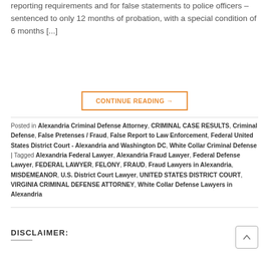reporting requirements and for false statements to police officers – sentenced to only 12 months of probation, with a special condition of 6 months [...]
CONTINUE READING →
Posted in Alexandria Criminal Defense Attorney, CRIMINAL CASE RESULTS, Criminal Defense, False Pretenses / Fraud, False Report to Law Enforcement, Federal United States District Court - Alexandria and Washington DC, White Collar Criminal Defense | Tagged Alexandria Federal Lawyer, Alexandria Fraud Lawyer, Federal Defense Lawyer, FEDERAL LAWYER, FELONY, FRAUD, Fraud Lawyers in Alexandria, MISDEMEANOR, U.S. District Court Lawyer, UNITED STATES DISTRICT COURT, VIRGINIA CRIMINAL DEFENSE ATTORNEY, White Collar Defense Lawyers in Alexandria
DISCLAIMER: